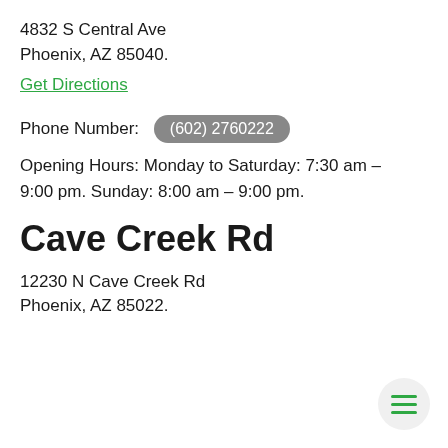4832 S Central Ave
Phoenix, AZ 85040.
Get Directions
Phone Number: (602) 2760222
Opening Hours: Monday to Saturday: 7:30 am – 9:00 pm. Sunday: 8:00 am – 9:00 pm.
Cave Creek Rd
12230 N Cave Creek Rd
Phoenix, AZ 85022.